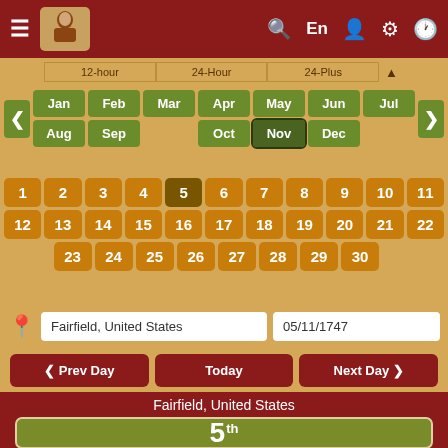≡  [logo]  Search  En  Person  Settings  Clock
12-hour  24-Hour  24-Plus
[Figure (screenshot): Month selector with Jan Feb Mar Apr May Jun Jul Aug Sep (row1), Oct Nov Dec (row2), Nov highlighted/active. Navigation arrows on left and right.]
[Figure (screenshot): Date grid for November: 1-11 (row1), 12-22 (row2), 23-30 (row3). Date 5 is highlighted/active.]
Fairfield, United States
05/11/1747
❮ Prev Day
Today
Next Day ❯
Fairfield, United States
5th